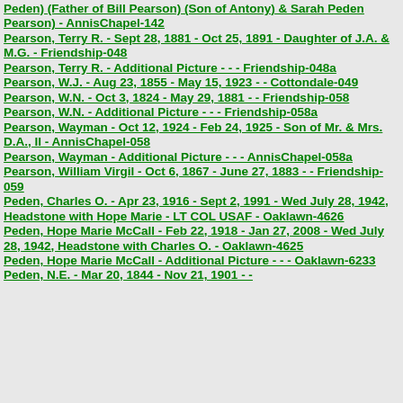Peden) (Father of Bill Pearson) (Son of Antony) & Sarah Peden Pearson) - AnnisChapel-142
Pearson, Terry R.   - Sept 28, 1881 - Oct 25, 1891 - Daughter of J.A. & M.G. - Friendship-048
Pearson, Terry R.   - Additional Picture -  -  - Friendship-048a
Pearson, W.J.   - Aug 23, 1855 - May 15, 1923 -  - Cottondale-049
Pearson, W.N.   - Oct 3, 1824 - May 29, 1881 -  - Friendship-058
Pearson, W.N.   - Additional Picture -  -  - Friendship-058a
Pearson, Wayman   - Oct 12, 1924 - Feb 24, 1925 - Son of Mr. & Mrs. D.A., II - AnnisChapel-058
Pearson, Wayman   - Additional Picture -  -  - AnnisChapel-058a
Pearson, William Virgil   - Oct 6, 1867 - June 27, 1883 -  - Friendship-059
Peden, Charles O.   - Apr 23, 1916 - Sept 2, 1991 - Wed July 28, 1942, Headstone with Hope Marie - LT COL USAF - Oaklawn-4626
Peden, Hope Marie McCall   - Feb 22, 1918 -  Jan 27, 2008 - Wed July 28, 1942, Headstone with Charles O. - Oaklawn-4625
Peden, Hope Marie McCall   - Additional Picture -  -  - Oaklawn-6233
Peden, N.E.   - Mar 20, 1844 - Nov 21, 1901 -  -